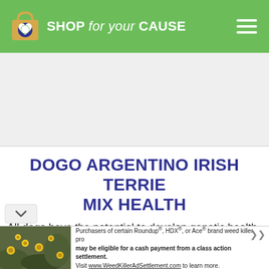SHOP for your CAUSE
[Figure (screenshot): Advertisement banner placeholder area (light gray rectangle)]
DOGO ARGENTINO IRISH TERRIER MIX HEALTH
All dogs have the potential to develop genetic health problems as all breeds are susceptible to some things more than others. However, the one positive
[Figure (photo): Advertisement banner at bottom: photo of yellow flowers on left, text about Roundup/HDX/Ace brand weed killer purchasers and class action settlement, WeedKillerAdSettlement.com]